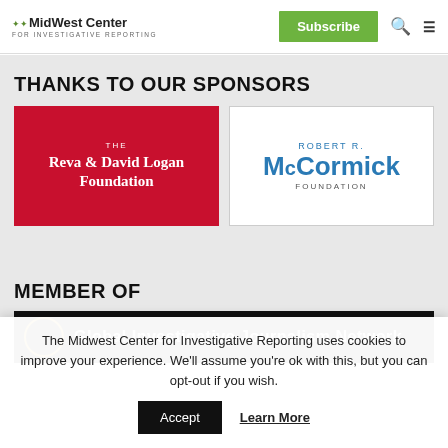MidWest Center for Investigative Reporting — Subscribe
THANKS TO OUR SPONSORS
[Figure (logo): The Reva & David Logan Foundation logo — white text on red background]
[Figure (logo): Robert R. McCormick Foundation logo — blue text on white background]
MEMBER OF
[Figure (logo): Global Investigative Journalism Network banner — white text on dark background]
The Midwest Center for Investigative Reporting uses cookies to improve your experience. We'll assume you're ok with this, but you can opt-out if you wish.